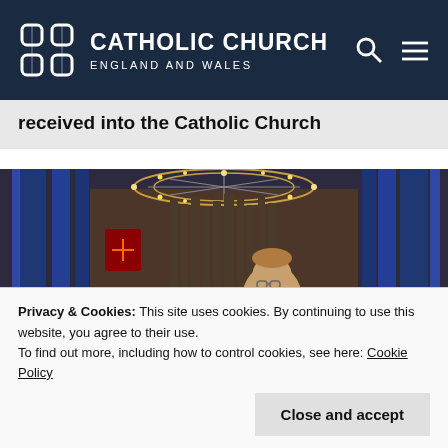CATHOLIC CHURCH ENGLAND AND WALES
received into the Catholic Church
[Figure (photo): A man smiling inside a cathedral with blue illuminated pillars, pipe organ, and circular chandelier. The interior resembles Liverpool Metropolitan Cathedral.]
Privacy & Cookies: This site uses cookies. By continuing to use this website, you agree to their use.
To find out more, including how to control cookies, see here: Cookie Policy